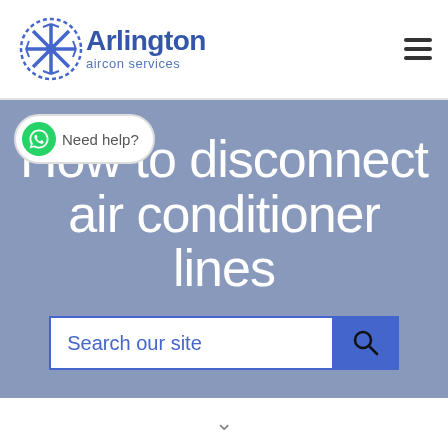Arlington aircon services
How to disconnect air conditioner lines
Need help?
Search our site